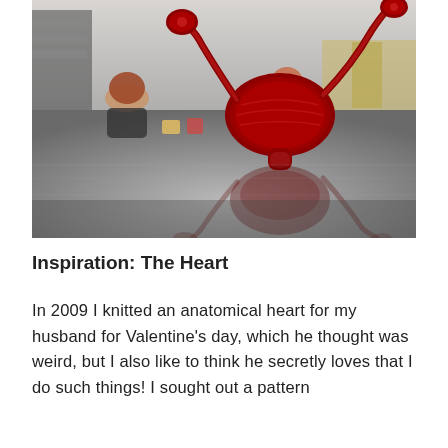[Figure (photo): A photograph showing a large knitted anatomical uterus sculpture in dark red yarn in the foreground on a reflective floor, with two women working in the background in a studio or workshop setting. The sculpture's reflection is visible on the shiny floor surface.]
Inspiration: The Heart
In 2009 I knitted an anatomical heart for my husband for Valentine's day, which he thought was weird, but I also like to think he secretly loves that I do such things! I sought out a pattern